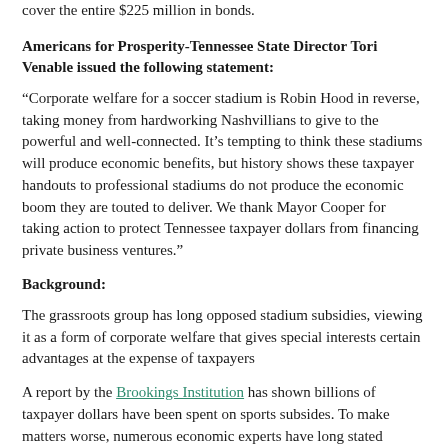cover the entire $225 million in bonds.
Americans for Prosperity-Tennessee State Director Tori Venable issued the following statement:
“Corporate welfare for a soccer stadium is Robin Hood in reverse, taking money from hardworking Nashvillians to give to the powerful and well-connected. It’s tempting to think these stadiums will produce economic benefits, but history shows these taxpayer handouts to professional stadiums do not produce the economic boom they are touted to deliver. We thank Mayor Cooper for taking action to protect Tennessee taxpayer dollars from financing private business ventures.”
Background:
The grassroots group has long opposed stadium subsidies, viewing it as a form of corporate welfare that gives special interests certain advantages at the expense of taxpayers
A report by the Brookings Institution has shown billions of taxpayer dollars have been spent on sports subsides. To make matters worse, numerous economic experts have long stated stadiums do not generate economic growth.